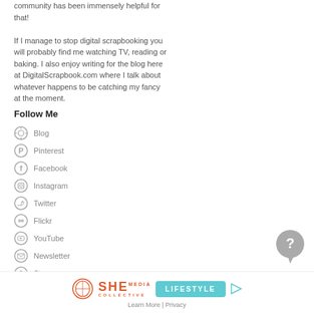community has been immensely helpful for that!
If I manage to stop digital scrapbooking you will probably find me watching TV, reading or baking. I also enjoy writing for the blog here at DigitalScrapbook.com where I talk about whatever happens to be catching my fancy at the moment.
Follow Me
Blog
Pinterest
Facebook
Instagram
Twitter
Flickr
YouTube
Newsletter
Store
[Figure (logo): SHE Media Collective Lifestyle advertisement banner with play button]
Learn More | Privacy